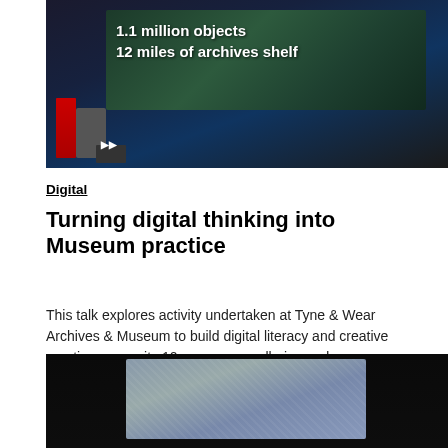[Figure (photo): Conference presentation photo showing a presenter at a podium in a dark auditorium with a large projection screen displaying '1.1 million objects 12 miles of archives shelf']
Digital
Turning digital thinking into Museum practice
This talk explores activity undertaken at Tyne & Wear Archives & Museum to build digital literacy and creative practice across its 10 museums, galleries and...
[Figure (photo): Partial view of a presentation showing an aerial photograph displayed on a screen, with dark surroundings]